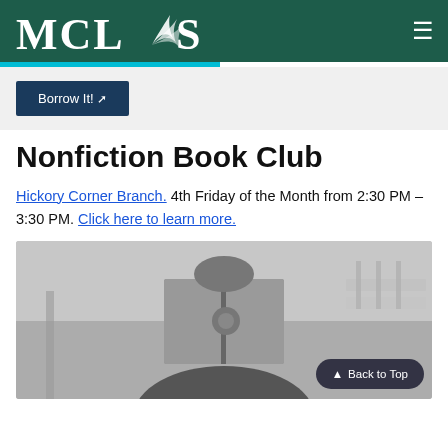MCLS
Borrow It!
Nonfiction Book Club
Hickory Corner Branch. 4th Friday of the Month from 2:30 PM – 3:30 PM. Click here to learn more.
[Figure (photo): Black and white photo of a person holding an open book up to their face, obscuring their face, standing in what appears to be a library or bookstore.]
Back to Top